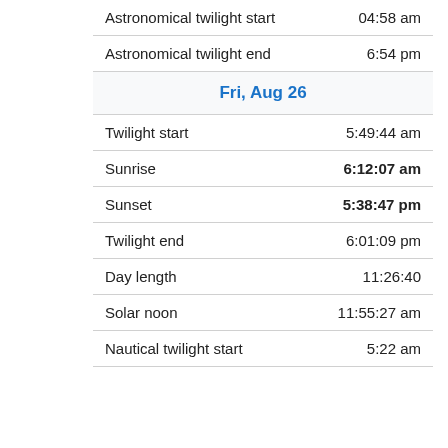| Event | Time |
| --- | --- |
| Astronomical twilight start | 04:58 am |
| Astronomical twilight end | 6:54 pm |
| Fri, Aug 26 |  |
| Twilight start | 5:49:44 am |
| Sunrise | 6:12:07 am |
| Sunset | 5:38:47 pm |
| Twilight end | 6:01:09 pm |
| Day length | 11:26:40 |
| Solar noon | 11:55:27 am |
| Nautical twilight start | 5:22 am |